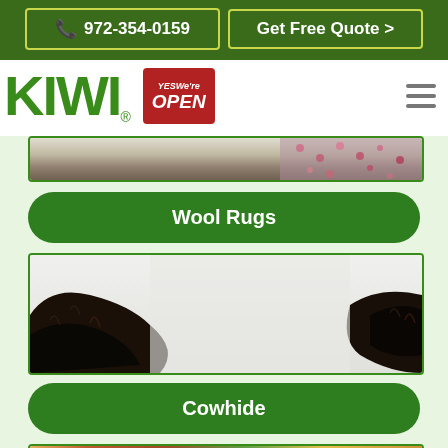972-354-0159 | Get Free Quote >
[Figure (logo): KIWI logo in green with registered trademark symbol, YES We're OPEN badge in red, and hamburger menu icon]
[Figure (photo): Partial view of patterned rug, top of page content area]
Wool Rugs
[Figure (photo): Black and white cowhide rug on light floor]
Cowhide
[Figure (photo): Colorful patterned rug, partially visible at bottom of page]